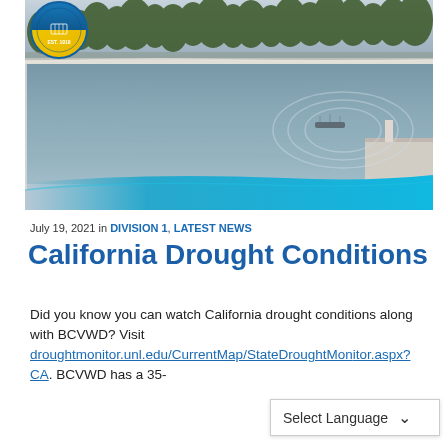[Figure (photo): Aerial or waterfront view of a water district reservoir or basin with white fences/walls, trees in background, gray overcast sky, and a teal/blue decorative banner at the bottom. A circular district logo (blue/yellow) appears in the upper left corner.]
July 19, 2021 in DIVISION 1, LATEST NEWS
California Drought Conditions
Did you know you can watch California drought conditions along with BCVWD? Visit droughtmonitor.unl.edu/CurrentMap/StateDroughtMonitor.aspx?CA. BCVWD has a 35-
Select Language